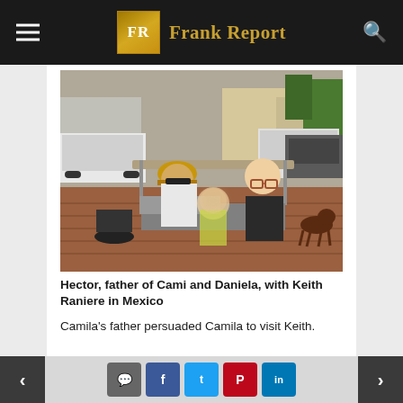Frank Report
[Figure (photo): Hector, father of Cami and Daniela, sitting in a golf cart with Keith Raniere in Mexico. A small child with a blurred face sits between them. They are outdoors on a brick paved area with vehicles in the background and a dog visible on the right side.]
Hector, father of Cami and Daniela, with Keith Raniere in Mexico
Camila's father persuaded Camila to visit Keith.
< [comment] [facebook] [twitter] [pinterest] [linkedin] >